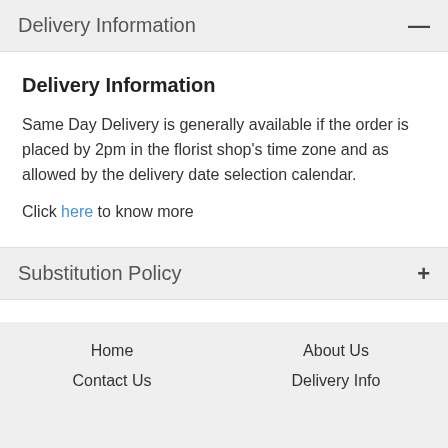Delivery Information
Delivery Information
Same Day Delivery is generally available if the order is placed by 2pm in the florist shop's time zone and as allowed by the delivery date selection calendar.
Click here to know more
Substitution Policy
Home   About Us   Contact Us   Delivery Info